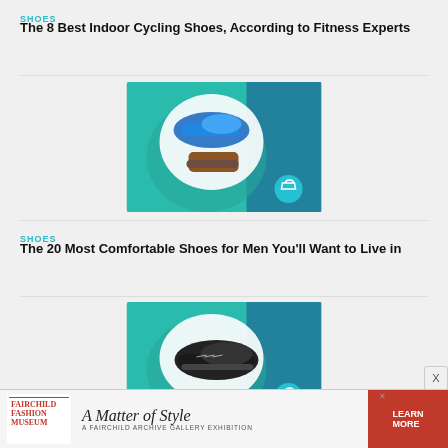SHOES
The 8 Best Indoor Cycling Shoes, According to Fitness Experts
[Figure (photo): Product image showing indoor cycling shoes and a brown shoe on a teal/green background with a shopping bag icon]
SHOES
The 20 Most Comfortable Shoes for Men You'll Want to Live in
[Figure (photo): Product image showing a black athletic sneaker on a teal/green background with a shopping bag icon]
WOMEN'S
The 20 Best Walking Shoes for Women in 2022
[Figure (advertisement): Fairchild Fashion Museum ad: A Matter of Style - A Fairchild Archive Gallery Exhibition. Learn More button in red.]